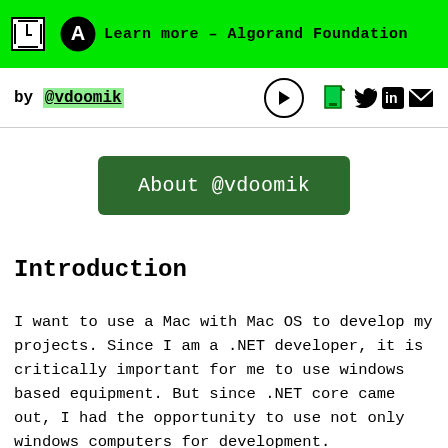Learn more – Algorand Foundation
by @vdoomik
[Figure (illustration): About @vdoomik green button]
Introduction
I want to use a Mac with Mac OS to develop my projects. Since I am a .NET developer, it is critically important for me to use windows based equipment. But since .NET core came out, I had the opportunity to use not only windows computers for development.